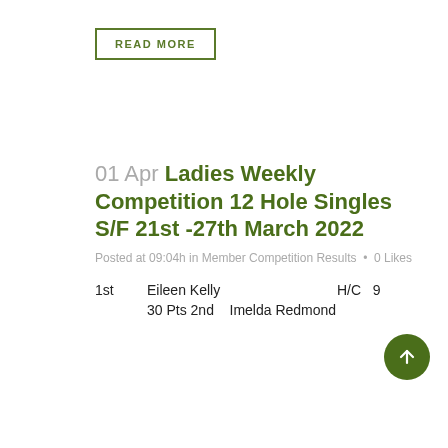READ MORE
01 Apr Ladies Weekly Competition 12 Hole Singles S/F 21st -27th March 2022
Posted at 09:04h in Member Competition Results • 0 Likes
1st   Eileen Kelly   H/C  9
30 Pts 2nd   Imelda Redmond